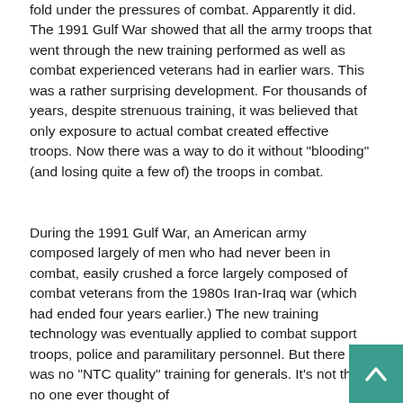fold under the pressures of combat. Apparently it did. The 1991 Gulf War showed that all the army troops that went through the new training performed as well as combat experienced veterans had in earlier wars. This was a rather surprising development. For thousands of years, despite strenuous training, it was believed that only exposure to actual combat created effective troops. Now there was a way to do it without "blooding" (and losing quite a few of) the troops in combat.
During the 1991 Gulf War, an American army composed largely of men who had never been in combat, easily crushed a force largely composed of combat veterans from the 1980s Iran-Iraq war (which had ended four years earlier.) The new training technology was eventually applied to combat support troops, police and paramilitary personnel. But there was no "NTC quality" training for generals. It's not that no one ever thought of